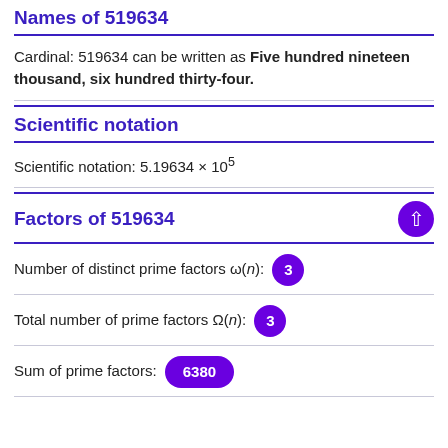Names of 519634
Cardinal: 519634 can be written as Five hundred nineteen thousand, six hundred thirty-four.
Scientific notation
Scientific notation: 5.19634 × 10^5
Factors of 519634
Number of distinct prime factors ω(n): 3
Total number of prime factors Ω(n): 3
Sum of prime factors: 6380